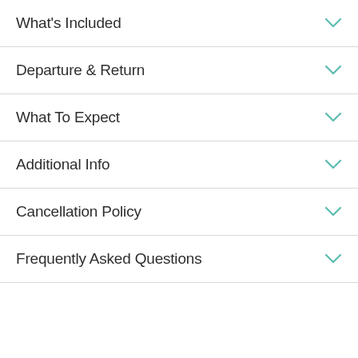What's Included
Departure & Return
What To Expect
Additional Info
Cancellation Policy
Frequently Asked Questions